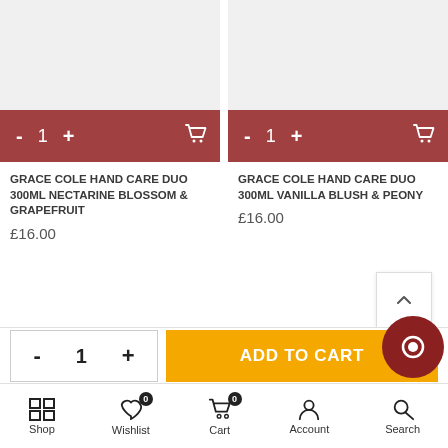[Figure (screenshot): Product card: Grace Cole Hand Care Duo 300ml Nectarine Blossom & Grapefruit with add-to-cart bar showing minus, 1, plus, cart icon on dark red background. Product image area is grey placeholder.]
GRACE COLE HAND CARE DUO 300ML NECTARINE BLOSSOM & GRAPEFRUIT
£16.00
[Figure (screenshot): Product card: Grace Cole Hand Care Duo 300ml Vanilla Blush & Peony with add-to-cart bar showing minus, 1, plus, cart icon on dark red background. Product image area is grey placeholder.]
GRACE COLE HAND CARE DUO 300ML VANILLA BLUSH & PEONY
£16.00
- 1 + ADD TO CART
Shop  Wishlist 0  Cart 0  Account  Search